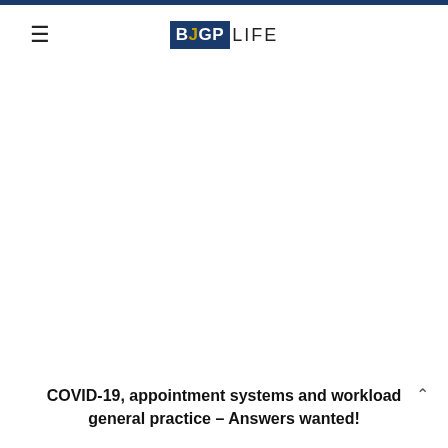BJGP LIFE
COVID-19, appointment systems and workload general practice – Answers wanted!